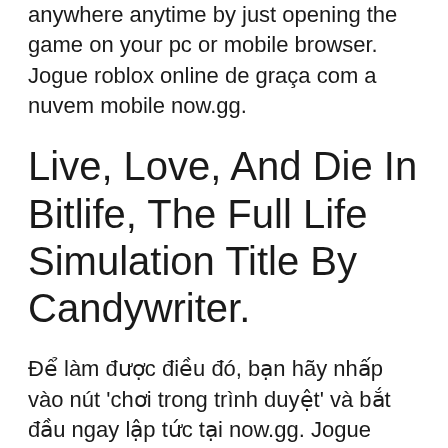now.gg enables you to easily play the game anywhere anytime by just opening the game on your pc or mobile browser. Jogue roblox online de graça com a nuvem mobile now.gg.
Live, Love, And Die In Bitlife, The Full Life Simulation Title By Candywriter.
Để làm được điều đó, bạn hãy nhấp vào nút 'chơi trong trình duyệt' và bắt đầu ngay lập tức tại now.gg. Jogue roblox online de graça com a nuvem mobile now.gg. Also just like unblocked games, you will be able to play roblox in your school or work network, while you have free periods or breaks.